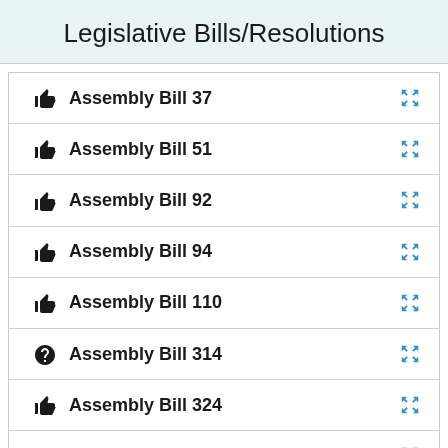Legislative Bills/Resolutions
Assembly Bill 37
Assembly Bill 51
Assembly Bill 92
Assembly Bill 94
Assembly Bill 110
Assembly Bill 314
Assembly Bill 324
Assembly Bill 466